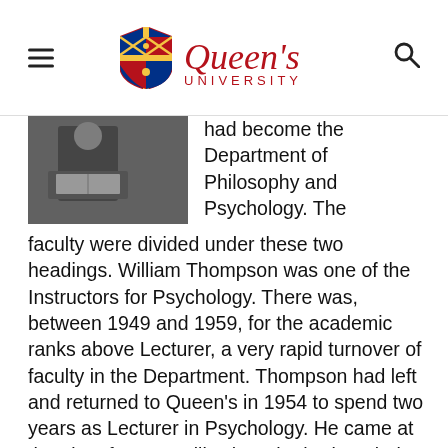Queen's University
[Figure (photo): Black and white photograph of a person holding a book or document]
had become the Department of Philosophy and Psychology. The faculty were divided under these two headings. William Thompson was one of the Instructors for Psychology. There was, between 1949 and 1959, for the academic ranks above Lecturer, a very rapid turnover of faculty in the Department. Thompson had left and returned to Queen's in 1954 to spend two years as Lecturer in Psychology. He came at that time from McGill, where he had carried out some of